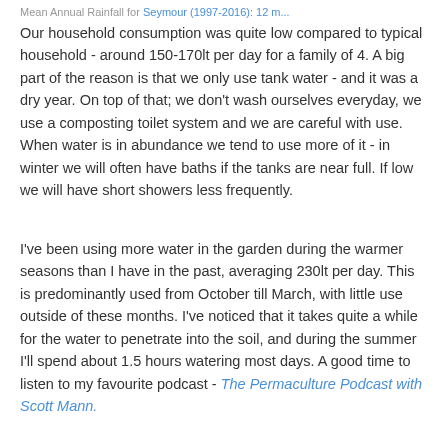Mean Annual Rainfall for Seymour (1997-2016): 12 m...
Our household consumption was quite low compared to typical household - around 150-170lt per day for a family of 4. A big part of the reason is that we only use tank water - and it was a dry year. On top of that; we don't wash ourselves everyday, we use a composting toilet system and we are careful with use. When water is in abundance we tend to use more of it - in winter we will often have baths if the tanks are near full. If low we will have short showers less frequently.
I've been using more water in the garden during the warmer seasons than I have in the past, averaging 230lt per day. This is predominantly used from October till March, with little use outside of these months. I've noticed that it takes quite a while for the water to penetrate into the soil, and during the summer I'll spend about 1.5 hours watering most days. A good time to listen to my favourite podcast - The Permaculture Podcast with Scott Mann.